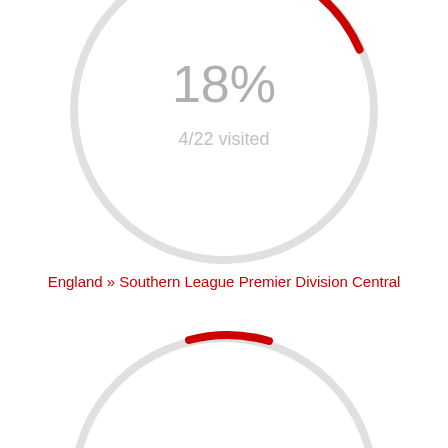[Figure (donut-chart): Donut/ring chart showing 18% completion. A red arc covers approximately 18% of the circle (top-right area). The rest is light gray. Center shows '18%' in large gray text and '4/22 visited' below it.]
England » Southern League Premier Division Central
[Figure (donut-chart): Partial donut/ring chart (bottom of page, cut off). Shows a red arc at the top of the circle. Content below the arc is not visible.]